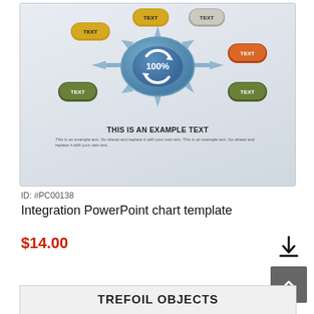[Figure (infographic): Integration PowerPoint chart template preview showing a central blue circular diagram with arrows pointing outward and six colored pill-shaped buttons labeled TEXT around it, with '100%' in the center. Below the diagram: bold title 'THIS IS AN EXAMPLE TEXT' and sample body text.]
ID: #PC00138
Integration PowerPoint chart template
$14.00
TREFOIL OBJECTS